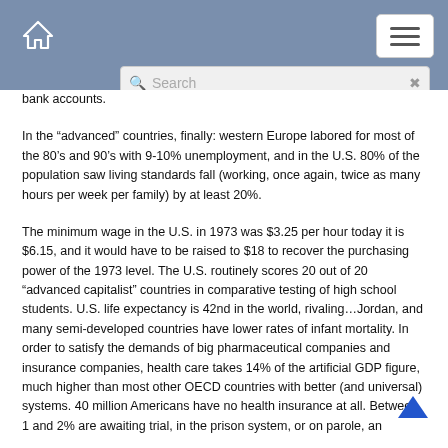Navigation header with home icon, menu button, and search bar
bank accounts.
In the “advanced” countries, finally: western Europe labored for most of the 80’s and 90’s with 9-10% unemployment, and in the U.S. 80% of the population saw living standards fall (working, once again, twice as many hours per week per family) by at least 20%.
The minimum wage in the U.S. in 1973 was $3.25 per hour today it is $6.15, and it would have to be raised to $18 to recover the purchasing power of the 1973 level. The U.S. routinely scores 20 out of 20 “advanced capitalist” countries in comparative testing of high school students. U.S. life expectancy is 42nd in the world, rivaling…Jordan, and many semi-developed countries have lower rates of infant mortality. In order to satisfy the demands of big pharmaceutical companies and insurance companies, health care takes 14% of the artificial GDP figure, much higher than most other OECD countries with better (and universal) systems. 40 million Americans have no health insurance at all. Between 1 and 2% are awaiting trial, in the prison system, or on parole, an